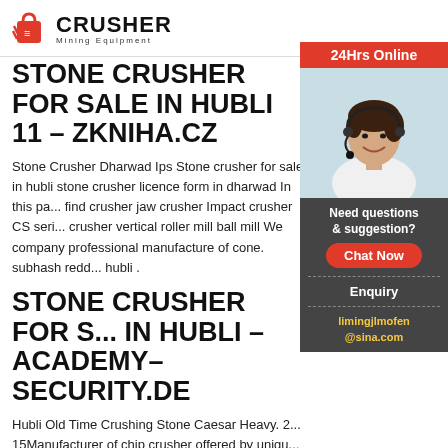CRUSHER Mining Equipment
STONE CRUSHER FOR SALE IN HUBLI 11 – ZKNIHA.CZ
Stone Crusher Dharwad Ips Stone crusher for sale in hubli stone crusher licence form in dharwad In this pa... find crusher jaw crusher Impact crusher CS seri... crusher vertical roller mill ball mill We company professional manufacture of cone. subhash redd... hubli .
STONE CRUSHER FOR S... IN HUBLI – ACADEMY– SECURITY.DE
Hubli Old Time Crushing Stone Caesar Heavy. 2... 15Manufacturer of chip crusher offered by uniqu... hubli karnataka contact supplier crusher plant f... karnataka yellow pages get price and support o...
[Figure (photo): Customer service representative woman wearing headset, smiling, with '24Hrs Online' banner at top and 'Need questions & suggestion?' text with 'Chat Now' button, 'Enquiry' link, and 'limingjlmofen@sina.com' email at bottom.]